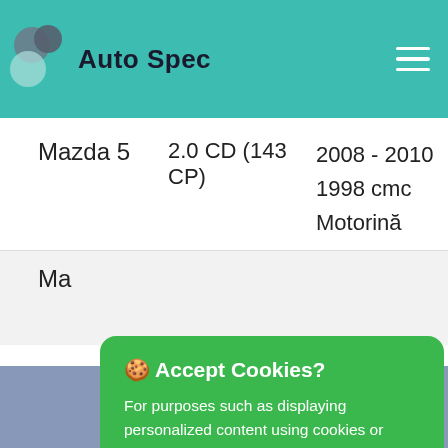[Figure (logo): Auto Spec logo with teal header bar, circular logo marks, and hamburger menu icon on the right]
Mazda 5	2.0 CD (143 CP)	2008 - 2010
1998 cmc
Motorină
Ma[zda partially visible]
🍪 Accept Cookies?
For purposes such as displaying personalized content using cookies or similar technologies. By clicking Accept or browsing this website, you agree to allow the collection of information through cookies or similar technologies.
Accept   Customize